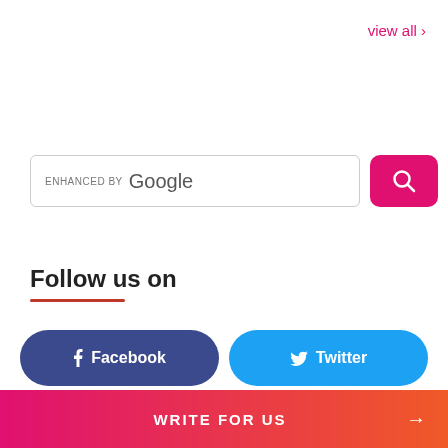view all >
[Figure (screenshot): Google enhanced search bar with pink search button]
Follow us on
Facebook
Twitter
Instagram
Linkdin
WRITE FOR US →